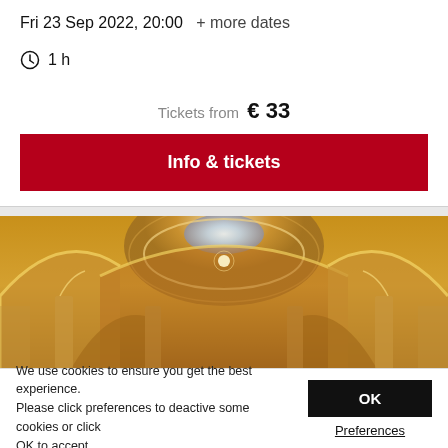Fri 23 Sep 2022, 20:00  + more dates
1 h
Tickets from  € 33
Info & tickets
[Figure (photo): Interior of an ornate concert hall or opera house with golden arched ceilings, domed ceiling with skylight, and elaborate architectural details]
We use cookies to ensure you get the best experience. Please click preferences to deactive some cookies or click OK to accept.
OK
Preferences